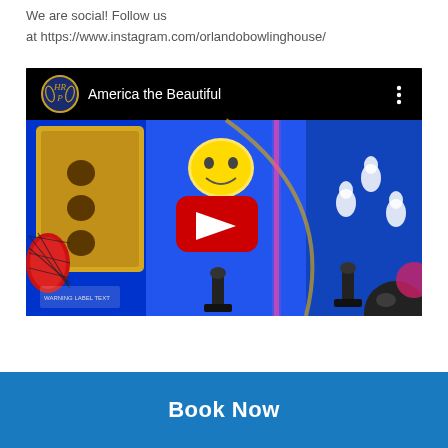We are social! Follow us
at https://www.instagram.com/orlandobowlinghouse/
[Figure (screenshot): YouTube video thumbnail showing an arcade bowling machine with blue lighting, yellow panel with holes, red ball in a net, emoji face, bowling pin graphics on the right side, and a YouTube play button overlay. Video title bar reads 'America the Beautiful' with an HRP logo.]
Book Now